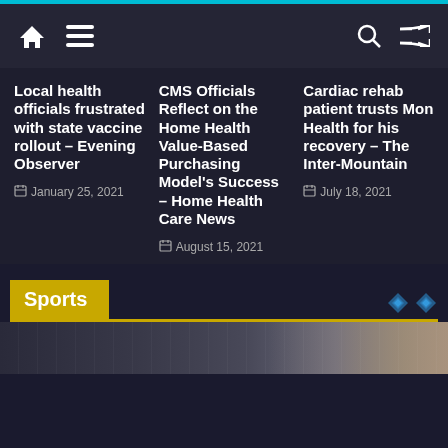Navigation bar with home, menu, search, and shuffle icons
Local health officials frustrated with state vaccine rollout – Evening Observer
January 25, 2021
CMS Officials Reflect on the Home Health Value-Based Purchasing Model's Success – Home Health Care News
August 15, 2021
Cardiac rehab patient trusts Mon Health for his recovery – The Inter-Mountain
July 18, 2021
Sports
[Figure (photo): Bottom strip showing a sports field or stadium image, partially visible]